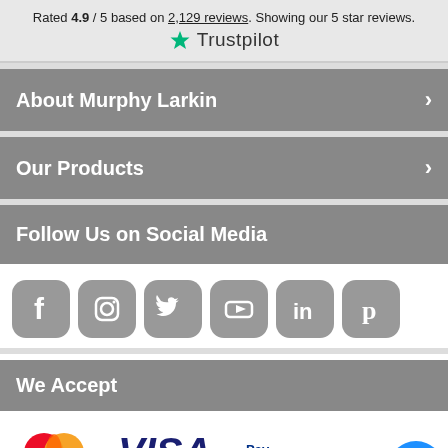Rated 4.9 / 5 based on 2,129 reviews. Showing our 5 star reviews.
[Figure (logo): Trustpilot logo with green star and Trustpilot wordmark]
About Murphy Larkin
Our Products
Follow Us on Social Media
[Figure (infographic): Six social media icons: Facebook, Instagram, Twitter, YouTube, LinkedIn, Pinterest — all grey rounded square icons]
We Accept
[Figure (infographic): Payment method logos: Mastercard, Visa, PayPal, with a blue 'ask' chat bubble in the bottom right corner]